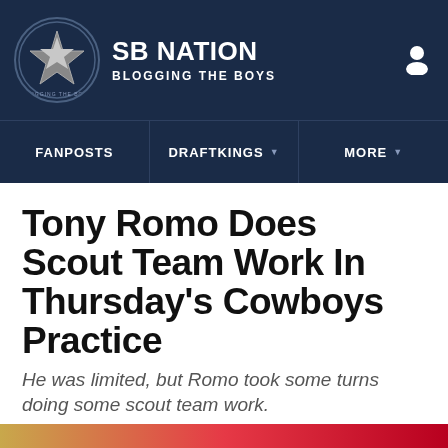SB NATION | BLOGGING THE BOYS
FANPOSTS | DRAFTKINGS | MORE
Tony Romo Does Scout Team Work In Thursday's Cowboys Practice
He was limited, but Romo took some turns doing some scout team work.
By Dave Halprin | @dave_halprin | Oct 28, 2016, 11:04am CDT
SHARE